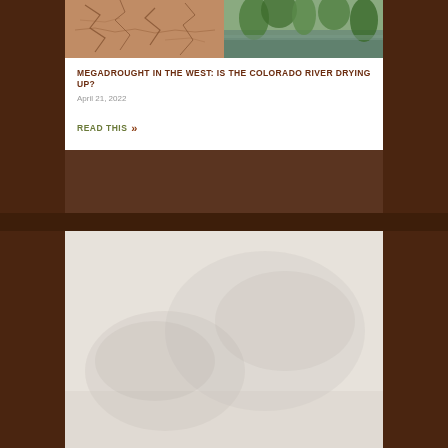[Figure (photo): Split photo: cracked dry earth on the left half, green riverbank/water on the right half]
MEGADROUGHT IN THE WEST: IS THE COLORADO RIVER DRYING UP?
April 21, 2022
READ THIS »
[Figure (photo): Faded landscape photo, appears to show a mountainous or desert scene, very light/washed out]